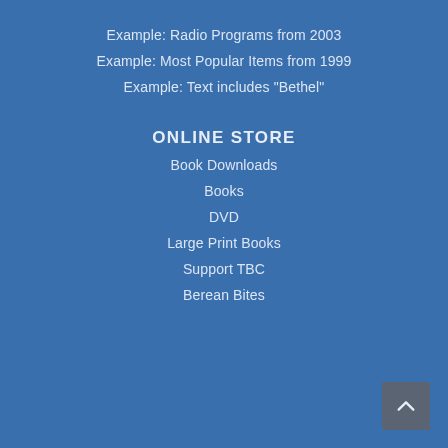Example: Radio Programs from 2003
Example: Most Popular Items from 1999
Example: Text includes "Bethel"
ONLINE STORE
Book Downloads
Books
DVD
Large Print Books
Support TBC
Berean Bites